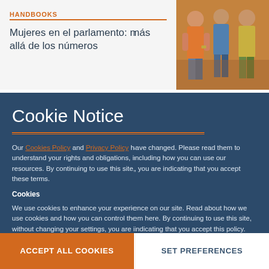HANDBOOKS
Mujeres en el parlamento: más allá de los números
[Figure (illustration): Book cover illustration showing colorful painted figures of people standing together]
Cookie Notice
Our Cookies Policy and Privacy Policy have changed. Please read them to understand your rights and obligations, including how you can use our resources. By continuing to use this site, you are indicating that you accept these terms.
Cookies
We use cookies to enhance your experience on our site. Read about how we use cookies and how you can control them here. By continuing to use this site, without changing your settings, you are indicating that you accept this policy.
ACCEPT ALL COOKIES
SET PREFERENCES